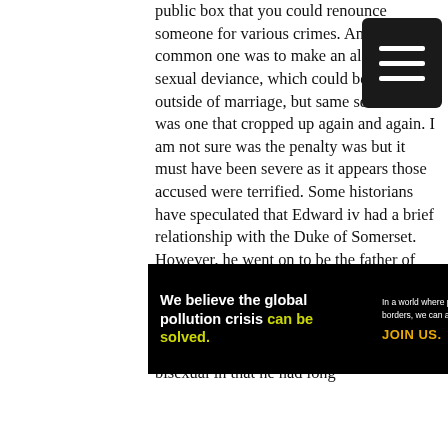public box that you could renounce someone for various crimes. And one common one was to make an allegation of sexual deviance, which could be anything outside of marriage, but same sex relations was one that cropped up again and again. I am not sure was the penalty was but it must have been severe as it appears those accused were terrified. Some historians have speculated that Edward iv had a brief relationship with the Duke of Somerset. However, he went on to be the father of several children and his weakness was fancy women, not other men. There is also the usual claims that Edward ii was probably what we might call today, bisexual in that he had long
[Figure (other): Dark rectangular menu/hamburger icon button with three white horizontal lines, positioned top-right of the text area]
[Figure (infographic): Pure Earth advertisement banner on black background. Left section in bold white text: 'We believe the global pollution crisis can be solved.' with 'can be solved.' in yellow-green. Middle section in small white text: 'In a world where pollution doesn't stop at borders, we can all be part of the solution.' with 'JOIN US.' in gold/yellow. Right section shows Pure Earth logo: diamond/arrow chevron icon in gold/yellow and white, next to bold white text 'PURE EARTH'.]